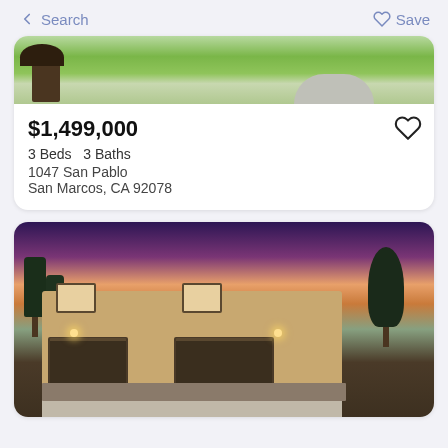← Search    ♡ Save
[Figure (photo): Aerial/landscape photo of property with green grass, trees, and a winding driveway]
$1,499,000
3 Beds   3 Baths
1047 San Pablo
San Marcos, CA 92078
[Figure (photo): Exterior photo of a two-story stucco home with three-car garage at dusk/twilight with pink and purple sky]